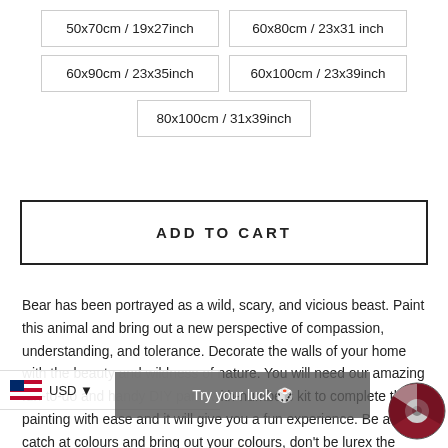50x70cm / 19x27inch
60x80cm / 23x31 inch
60x90cm / 23x35inch
60x100cm / 23x39inch
80x100cm / 31x39inch
ADD TO CART
Bear has been portrayed as a wild, scary, and vicious beast. Paint this animal and bring out a new perspective of compassion, understanding, and tolerance. Decorate the walls of your home with the beauty and wildness of nature. You will need our amazing fun-to-do and handy DIY paint-with-numbers kit to complete this painting with ease and it will give you a fun experience. Be a good catch at colours and bring out your colours, don't be lured by the dark side, look for the shine of your soul. Cherish love and know when to keep your mouth shut and let your art speak, don't give up without a tough